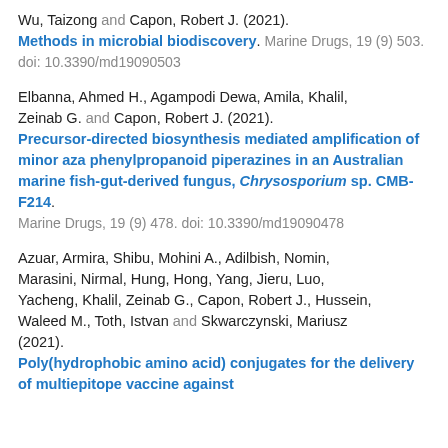Wu, Taizong and Capon, Robert J. (2021). Methods in microbial biodiscovery. Marine Drugs, 19 (9) 503. doi: 10.3390/md19090503
Elbanna, Ahmed H., Agampodi Dewa, Amila, Khalil, Zeinab G. and Capon, Robert J. (2021). Precursor-directed biosynthesis mediated amplification of minor aza phenylpropanoid piperazines in an Australian marine fish-gut-derived fungus, Chrysosporium sp. CMB-F214. Marine Drugs, 19 (9) 478. doi: 10.3390/md19090478
Azuar, Armira, Shibu, Mohini A., Adilbish, Nomin, Marasini, Nirmal, Hung, Hong, Yang, Jieru, Luo, Yacheng, Khalil, Zeinab G., Capon, Robert J., Hussein, Waleed M., Toth, Istvan and Skwarczynski, Mariusz (2021). Poly(hydrophobic amino acid) conjugates for the delivery of multiepitope vaccine against